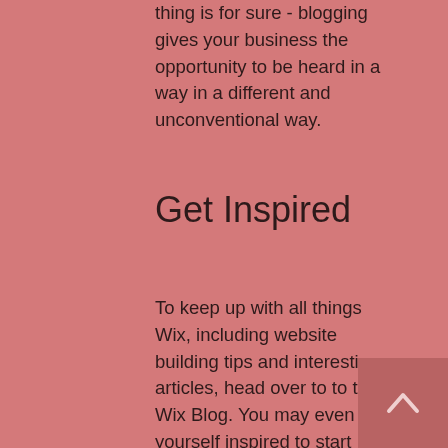thing is for sure - blogging gives your business the opportunity to be heard in a way in a different and unconventional way.
Get Inspired
To keep up with all things Wix, including website building tips and interesting articles, head over to to the Wix Blog. You may even find yourself inspired to start crafting your own blog, adding unique content, and stunning images and videos. Start creating your own blog now. Good luck!